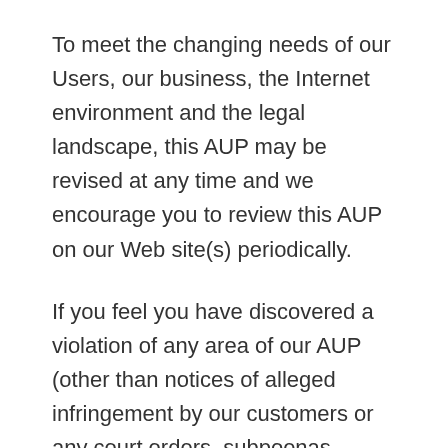To meet the changing needs of our Users, our business, the Internet environment and the legal landscape, this AUP may be revised at any time and we encourage you to review this AUP on our Web site(s) periodically.
If you feel you have discovered a violation of any area of our AUP (other than notices of alleged infringement by our customers or any court orders, subpoenas, search warrants, or other legal process, the email address for all